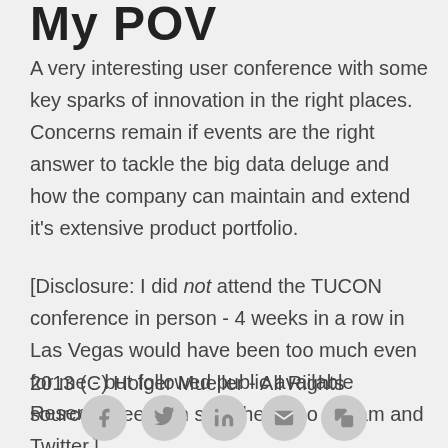My POV
A very interesting user conference with some key sparks of innovation in the right places. Concerns remain if events are the right answer to tackle the big data deluge and how the company can maintain and extend it's extensive product portfolio.
[Disclosure: I did not attend the TUCON conference in person - 4 weeks in a row in Las Vegas would have been too much even for me - but followed public available sources, peers on site, the video stream and Twitter.]
2013 (C) Holger Mueller - All Rights Reserved
[Figure (other): Social media sharing icons: Facebook, Twitter, LinkedIn, Email, and another icon, displayed as grey circles at the bottom of the page]